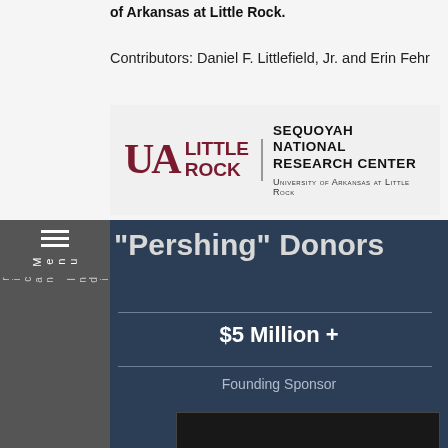of Arkansas at Little Rock.
Contributors: Daniel F. Littlefield, Jr. and Erin Fehr
[Figure (logo): UA Little Rock - Sequoyah National Research Center logo with university wordmark]
"Pershing" Donors
$5 Million +
Founding Sponsor